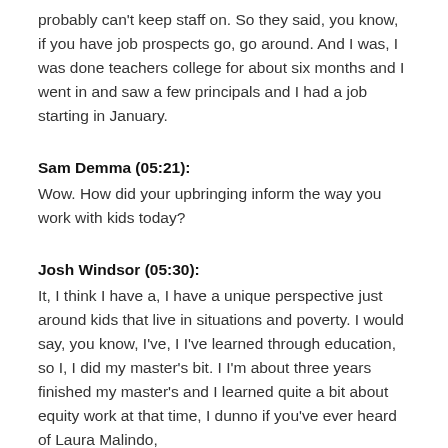probably can't keep staff on. So they said, you know, if you have job prospects go, go around. And I was, I was done teachers college for about six months and I went in and saw a few principals and I had a job starting in January.
Sam Demma (05:21):
Wow. How did your upbringing inform the way you work with kids today?
Josh Windsor (05:30):
It, I think I have a, I have a unique perspective just around kids that live in situations and poverty. I would say, you know, I've, I I've learned through education, so I, I did my master's bit. I I'm about three years finished my master's and I learned quite a bit about equity work at that time, I dunno if you've ever heard of Laura Malindo,